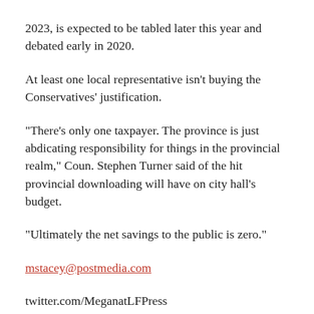2023, is expected to be tabled later this year and debated early in 2020.
At least one local representative isn't buying the Conservatives' justification.
“There’s only one taxpayer. The province is just abdicating responsibility for things in the provincial realm,” Coun. Stephen Turner said of the hit provincial downloading will have on city hall’s budget.
“Ultimately the net savings to the public is zero.”
mstacey@postmedia.com
twitter.com/MeganatLFPress